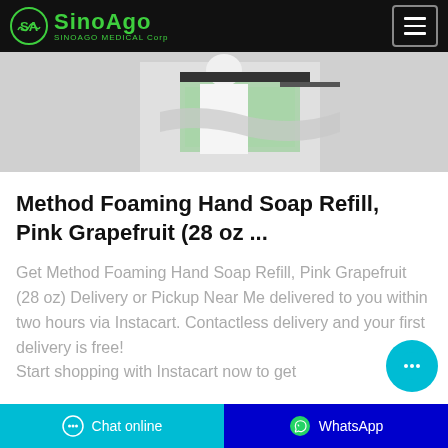SinoAgo Medical Corp
[Figure (photo): Manufacturing or laboratory scene showing a person in a white coat/gloves working with green-tinted glass or equipment on a production line]
Method Foaming Hand Soap Refill, Pink Grapefruit (28 oz ...
Get Method Foaming Hand Soap Refill, Pink Grapefruit (28 oz) Delivery or Pickup Near Me delivered to you within two hours via Instacart. Contactless delivery and your first delivery is free! Start shopping with Instacart now to get
Chat online   WhatsApp